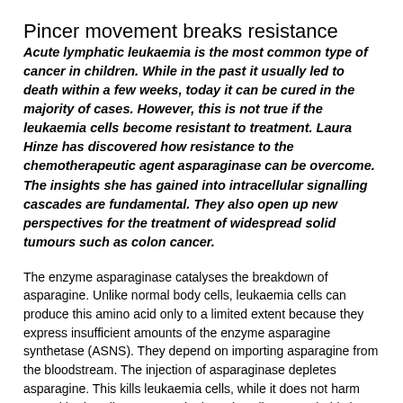Pincer movement breaks resistance
Acute lymphatic leukaemia is the most common type of cancer in children. While in the past it usually led to death within a few weeks, today it can be cured in the majority of cases. However, this is not true if the leukaemia cells become resistant to treatment. Laura Hinze has discovered how resistance to the chemotherapeutic agent asparaginase can be overcome. The insights she has gained into intracellular signalling cascades are fundamental. They also open up new perspectives for the treatment of widespread solid tumours such as colon cancer.
The enzyme asparaginase catalyses the breakdown of asparagine. Unlike normal body cells, leukaemia cells can produce this amino acid only to a limited extent because they express insufficient amounts of the enzyme asparagine synthetase (ASNS). They depend on importing asparagine from the bloodstream. The injection of asparaginase depletes asparagine. This kills leukaemia cells, while it does not harm normal body cells. However, leukaemia cells can probably learn to increase the expression of ASNS in order to escape treatment with asparaginase. This once